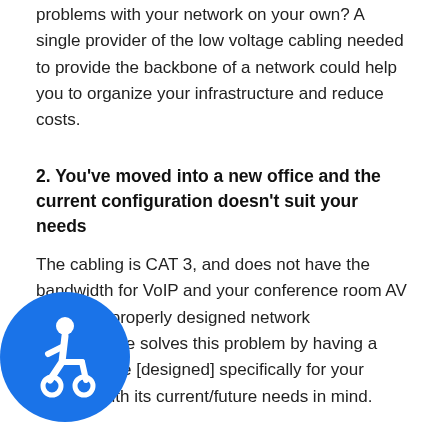problems with your network on your own? A single provider of the low voltage cabling needed to provide the backbone of a network could help you to organize your infrastructure and reduce costs.
2. You've moved into a new office and the current configuration doesn't suit your needs
The cabling is CAT 3, and does not have the bandwidth for VoIP and your conference room AV needs.  A properly designed network infrastructure solves this problem by having a plan in place [designed] specifically for your location with its current/future needs in mind.
[Figure (illustration): Blue circular accessibility icon showing a person in a wheelchair]